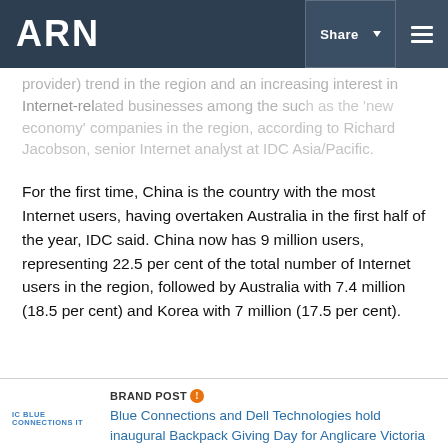ARN
provider) trend in the region and an increasing interest in Internet-related businesses among the such as the 'new economy' companies in the region, according to Richard Jacobson, senior Internet analyst at IDC Asia/Pacific.
For the first time, China is the country with the most Internet users, having overtaken Australia in the first half of the year, IDC said. China now has 9 million users, representing 22.5 per cent of the total number of Internet users in the region, followed by Australia with 7.4 million (18.5 per cent) and Korea with 7 million (17.5 per cent).
BRANDPOST
Blue Connections and Dell Technologies hold inaugural Backpack Giving Day for Anglicare Victoria to support young people at home and